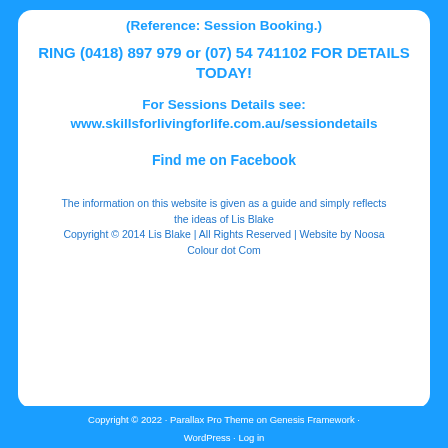(Reference: Session Booking.)
RING (0418) 897 979 or (07) 54 741102 FOR DETAILS TODAY!
For Sessions Details see:
www.skillsforlivingforlife.com.au/sessiondetails
Find me on Facebook
The information on this website is given as a guide and simply reflects the ideas of Lis Blake
Copyright © 2014 Lis Blake | All Rights Reserved | Website by Noosa Colour dot Com
Copyright © 2022 · Parallax Pro Theme on Genesis Framework · WordPress · Log in